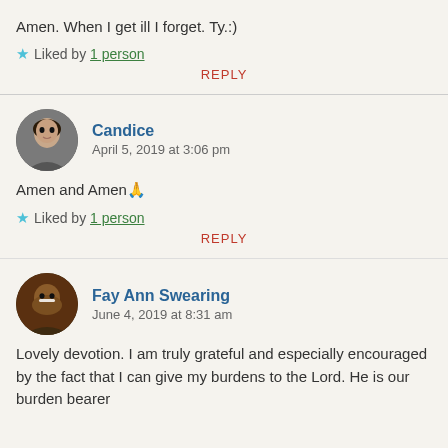Amen. When I get ill I forget. Ty.:)
★ Liked by 1 person
REPLY
Candice
April 5, 2019 at 3:06 pm
Amen and Amen🙏
★ Liked by 1 person
REPLY
Fay Ann Swearing
June 4, 2019 at 8:31 am
Lovely devotion. I am truly grateful and especially encouraged by the fact that I can give my burdens to the Lord. He is our burden bearer